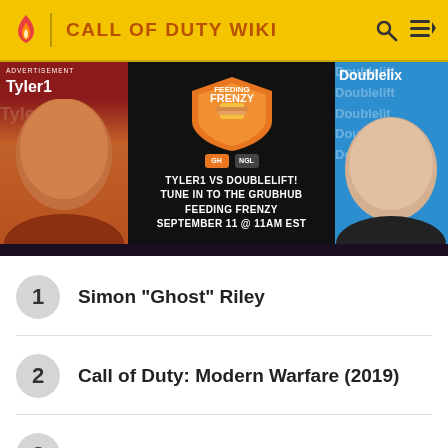CALL OF DUTY WIKI
[Figure (photo): Advertisement banner showing Tyler1 vs Doublelift for the Grubhub Feeding Frenzy event on September 11 at 11AM EST]
1  Simon "Ghost" Riley
2  Call of Duty: Modern Warfare (2019)
3  Call of Duty: Modern Warfare 2